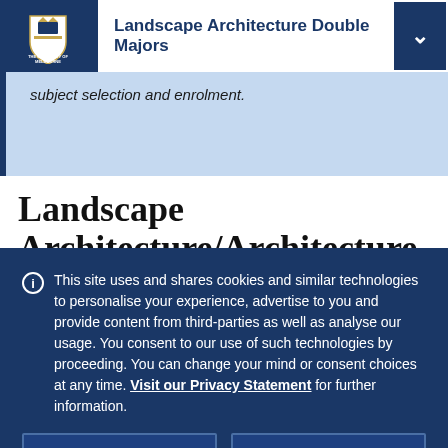Landscape Architecture Double Majors
subject selection and enrolment.
Landscape Architecture/Architecture
This site uses and shares cookies and similar technologies to personalise your experience, advertise to you and provide content from third-parties as well as analyse our usage. You consent to our use of such technologies by proceeding. You can change your mind or consent choices at any time. Visit our Privacy Statement for further information.
Accept cookies
Cookie Preferences